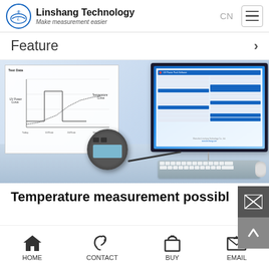Linshang Technology - Make measurement easier
Feature
[Figure (photo): Product photo showing a UV power measurement device connected to a PC with software interface displaying Test Data charts including UV Power Curve and Temperature Curve, alongside a desktop computer monitor showing measurement software]
Temperature measurement possibl
HOME   CONTACT   BUY   EMAIL